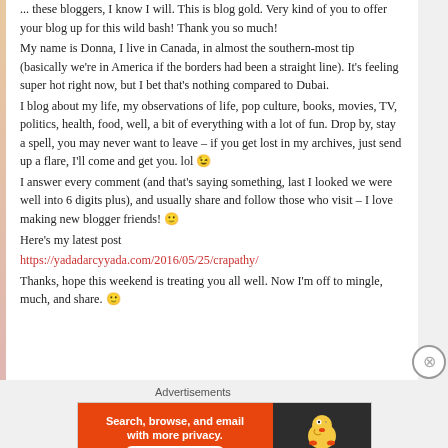... these bloggers, I know I will. This is blog gold. Very kind of you to offer your blog up for this wild bash! Thank you so much!
My name is Donna, I live in Canada, in almost the southern-most tip (basically we're in America if the borders had been a straight line). It's feeling super hot right now, but I bet that's nothing compared to Dubai.
I blog about my life, my observations of life, pop culture, books, movies, TV, politics, health, food, well, a bit of everything with a lot of fun. Drop by, stay a spell, you may never want to leave – if you get lost in my archives, just send up a flare, I'll come and get you. lol 😉
I answer every comment (and that's saying something, last I looked we were well into 6 digits plus), and usually share and follow those who visit – I love making new blogger friends! 🙂
Here's my latest post
https://yadadarcyyada.com/2016/05/25/crapathy/
Thanks, hope this weekend is treating you all well. Now I'm off to mingle, much, and share. 🙂
Advertisements
[Figure (other): DuckDuckGo advertisement banner: orange background on left with text 'Search, browse, and email with more privacy. All in One Free App' and white rounded button; dark background on right with DuckDuckGo duck logo and brand name.]